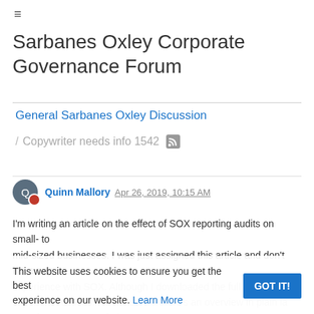≡
Sarbanes Oxley Corporate Governance Forum
General Sarbanes Oxley Discussion
/ Copywriter needs info 1542
Quinn Mallory Apr 26, 2019, 10:15 AM
I'm writing an article on the effect of SOX reporting audits on small- to mid-sized businesses. I was just assigned this article and don't have any experience with SOX. Although I downloaded the full bill, it rea stereo instructions. I'm not sure if there's an overview in plain language experience on our website. Learn More SOX Does anyone know
This website uses cookies to ensure you get the best experience on our website. Learn More GOT IT!